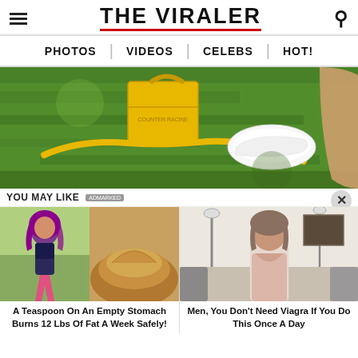THE VIRALER
PHOTOS | VIDEOS | CELEBS | HOT!
[Figure (photo): Yellow crossbody bag with strap laid on grass next to white sneaker and a person's leg]
YOU MAY LIKE
[Figure (photo): A woman runner with purple hair next to a pile of spice powder]
A Teaspoon On An Empty Stomach Burns 12 Lbs Of Fat A Week Safely!
[Figure (photo): An older woman in a white lace top posing in a bright room]
Men, You Don't Need Viagra If You Do This Once A Day